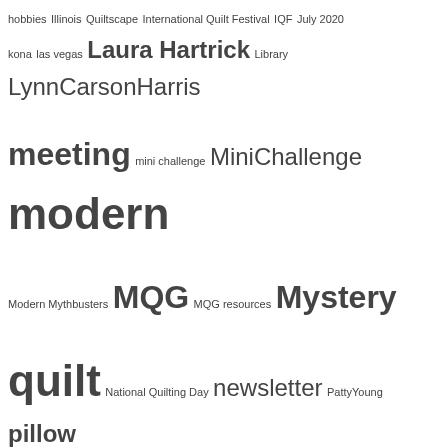hobbies Illinois Quiltscape International Quilt Festival IQF July 2020 kona las vegas Laura Hartrick Library LynnCarsonHarris meeting mini challenge MiniChallenge modern Modern Mythbusters MQG MQG resources Mystery quilt National Quilting Day newsletter PattyYoung pillow pouch swap programs project bag quilt challenge QuiltCon quilted notebook cover quilt exhibit Quilting Quilt Show Quilt Shows refreshments reminder Retreat rotary cutter scissors september service quilt Sew-Together bag Sharon Page sharpen tools show and tell swap talent Tech Tuesday textiles tiger lily tiny piecing Tip of the month Violet Protest workshop